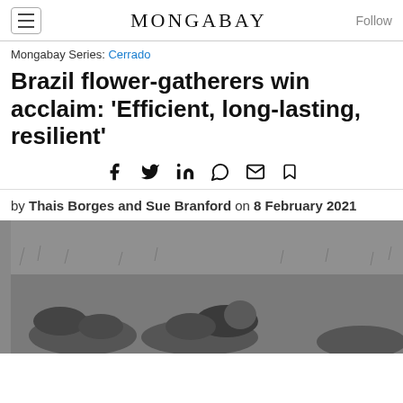MONGABAY
Mongabay Series: Cerrado
Brazil flower-gatherers win acclaim: ‘Efficient, long-lasting, resilient’
Social share icons: Facebook, Twitter, LinkedIn, WhatsApp, Email, Bookmark
by Thais Borges and Sue Branford on 8 February 2021
[Figure (photo): Black and white photograph of flower gatherers bent over picking flowers in a grassy field in Brazil]